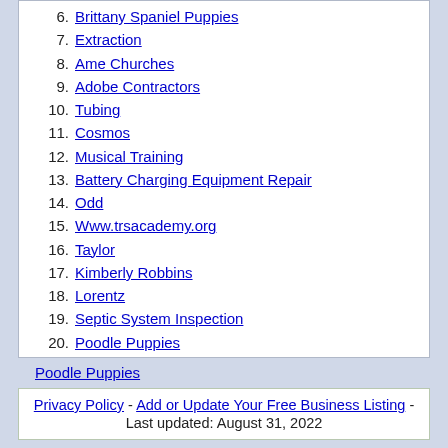6. Brittany Spaniel Puppies
7. Extraction
8. Ame Churches
9. Adobe Contractors
10. Tubing
11. Cosmos
12. Musical Training
13. Battery Charging Equipment Repair
14. Odd
15. Www.trsacademy.org
16. Taylor
17. Kimberly Robbins
18. Lorentz
19. Septic System Inspection
20. Poodle Puppies
Poodle Puppies
Privacy Policy - Add or Update Your Free Business Listing - Last updated: August 31, 2022